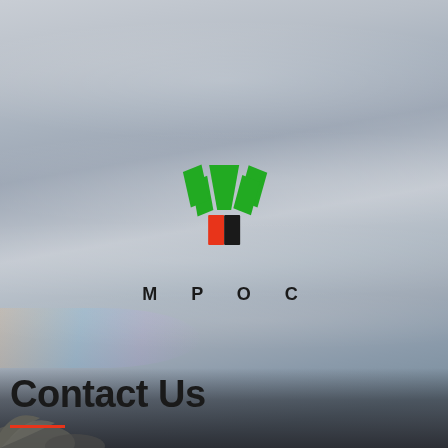[Figure (logo): MPOC logo: three green downward-pointing arrow/chevron shapes arranged in a fan above a split square (left half orange/red, right half black), with 'M P O C' text below in spaced black letters]
Contact Us